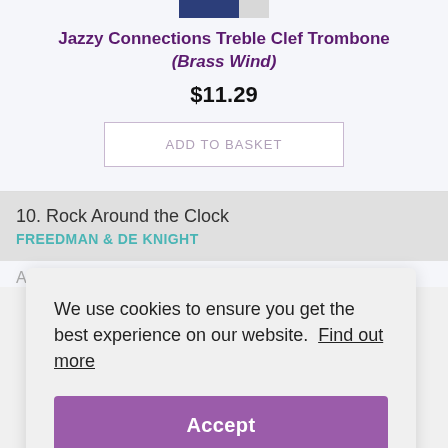[Figure (screenshot): Small product thumbnail image strip with dark blue and light gray sections]
Jazzy Connections Treble Clef Trombone (Brass Wind)
$11.29
ADD TO BASKET
10. Rock Around the Clock
FREEDMAN & DE KNIGHT
Available In
We use cookies to ensure you get the best experience on our website.  Find out more
Accept